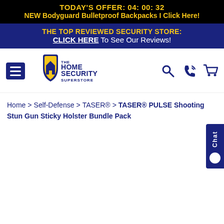TODAY'S OFFER: 04: 00: 32
NEW Bodyguard Bulletproof Backpacks I Click Here!
THE TOP REVIEWED SECURITY STORE: CLICK HERE To See Our Reviews!
[Figure (logo): The Home Security Superstore logo with shield icon]
Home > Self-Defense > TASER® > TASER® PULSE Shooting Stun Gun Sticky Holster Bundle Pack